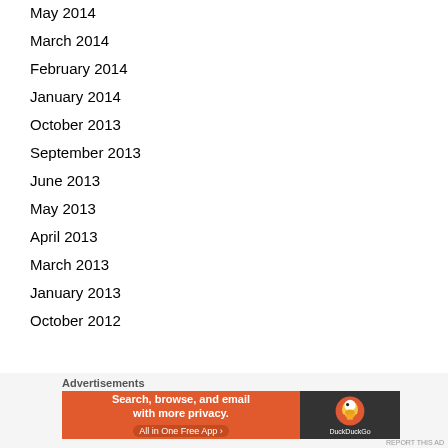May 2014
March 2014
February 2014
January 2014
October 2013
September 2013
June 2013
May 2013
April 2013
March 2013
January 2013
October 2012
Advertisements
[Figure (other): DuckDuckGo advertisement banner: Search, browse, and email with more privacy. All in One Free App]